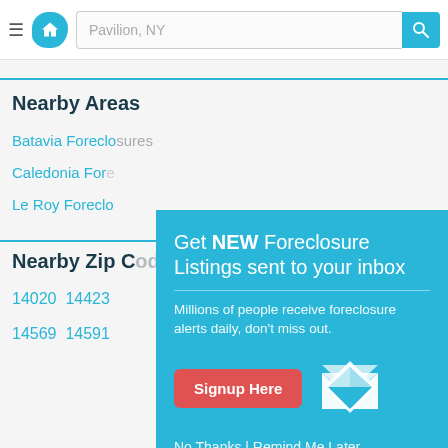Pavilion, NY
Nearby Areas
Batavia Foreclosures
Caledonia Foreclosures
Le Roy Foreclosures
Nearby Zip Codes
14020  14423
14569  14591
[Figure (screenshot): Modal popup with teal background: 'Get NEW Foreclosure Listings sent to your inbox. Millions of people receive foreclosure alerts daily, don't miss out.' with a red Signup Here button, envelope icon, and 'No Thanks | Remind Me Later' link.]